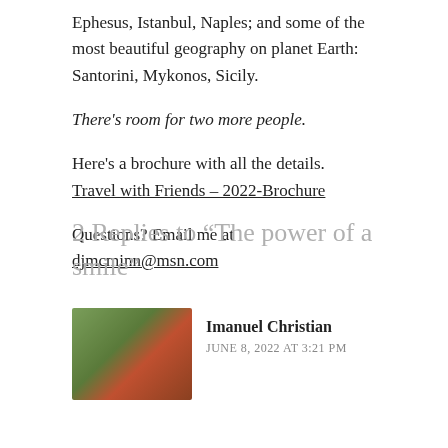Ephesus, Istanbul, Naples; and some of the most beautiful geography on planet Earth: Santorini, Mykonos, Sicily.
There's room for two more people.
Here's a brochure with all the details.  Travel with Friends – 2022-Brochure
Questions? Email me at djmcminn@msn.com
2 Replies to “The power of a smile”
Imanuel Christian
JUNE 8, 2022 AT 3:21 PM